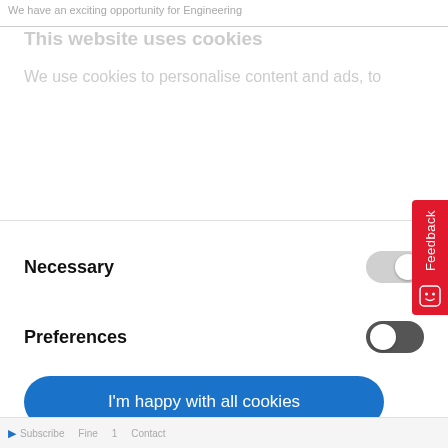We have an exciting opportunity for Engineering
This website uses cookies
We use cookies to personalise content and ads, to
Necessary
Preferences
I'm happy with all cookies
Allow selected cookies
Use necessary cookies only
Powered by Cookiebot by Usercentrics
Feedback